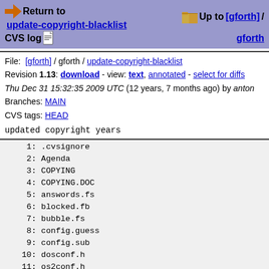Return to update-copyright-blacklist  Up to [gforth] / gforth  CVS log
File: [gforth] / gforth / update-copyright-blacklist
Revision 1.13: download - view: text, annotated - select for diffs
Thu Dec 31 15:32:35 2009 UTC (12 years, 7 months ago) by anton
Branches: MAIN
CVS tags: HEAD
updated copyright years
1: .cvsignore
2: Agenda
3: COPYING
4: COPYING.DOC
5: answords.fs
6: blocked.fb
7: bubble.fs
8: config.guess
9: config.sub
10: dosconf.h
11: os2conf.h
12: elisp-comp
13: fib.fs
14: fsl-util.4th
15: fsl-util.fs